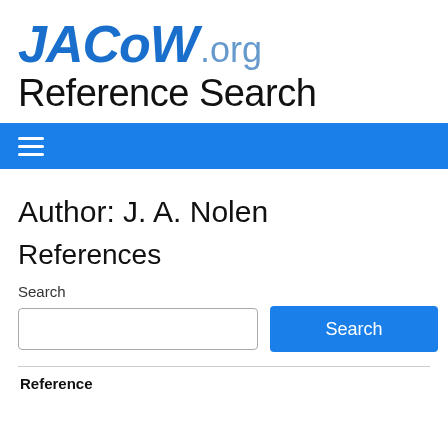[Figure (logo): JACoW.org logo with bold italic blue JACOW text and lighter blue .org suffix]
Reference Search
[Figure (other): Blue navigation bar with hamburger menu icon (three white horizontal lines)]
Author: J. A. Nolen
References
Search
[Figure (other): Search input field (empty) and blue Search button]
| Reference |
| --- |